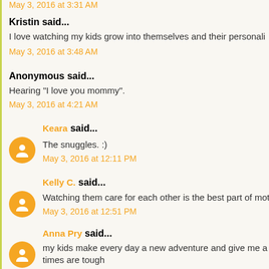May 3, 2016 at 3:31 AM (truncated at top)
Kristin said...
I love watching my kids grow into themselves and their personali…
May 3, 2016 at 3:48 AM
Anonymous said...
Hearing "I love you mommy".
May 3, 2016 at 4:21 AM
Keara said...
The snuggles. :)
May 3, 2016 at 12:11 PM
Kelly C. said...
Watching them care for each other is the best part of motherhood…
May 3, 2016 at 12:51 PM
Anna Pry said...
my kids make every day a new adventure and give me a reason… times are tough
May 3, 2016 at 1:40 PM (truncated at bottom)